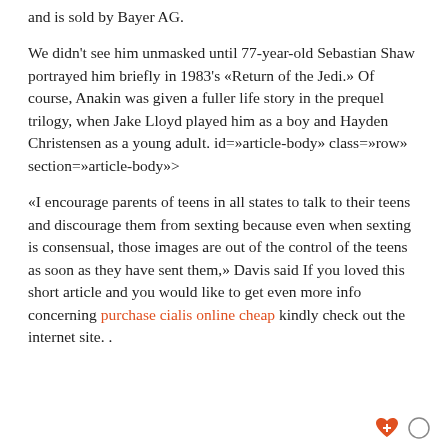and is sold by Bayer AG.
We didn't see him unmasked until 77-year-old Sebastian Shaw portrayed him briefly in 1983's «Return of the Jedi.» Of course, Anakin was given a fuller life story in the prequel trilogy, when Jake Lloyd played him as a boy and Hayden Christensen as a young adult. id=»article-body» class=»row» section=»article-body»>
«I encourage parents of teens in all states to talk to their teens and discourage them from sexting because even when sexting is consensual, those images are out of the control of the teens as soon as they have sent them,» Davis said If you loved this short article and you would like to get even more info concerning purchase cialis online cheap kindly check out the internet site. .